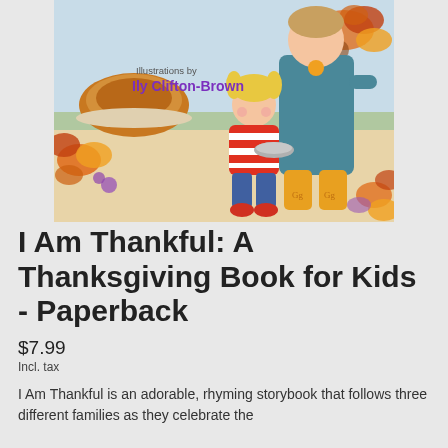[Figure (illustration): Book cover illustration showing a child in a red striped shirt holding a plate, standing next to an adult in a teal outfit with yellow boots, with a roasted turkey on a counter in the background, autumn leaves and flowers in the corners. Text overlay reads 'Illustrations by Ily Clifton-Brown'.]
I Am Thankful: A Thanksgiving Book for Kids - Paperback
$7.99
Incl. tax
I Am Thankful is an adorable, rhyming storybook that follows three different families as they celebrate the